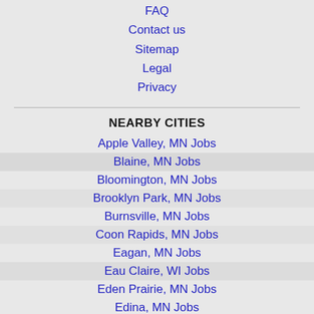FAQ
Contact us
Sitemap
Legal
Privacy
NEARBY CITIES
Apple Valley, MN Jobs
Blaine, MN Jobs
Bloomington, MN Jobs
Brooklyn Park, MN Jobs
Burnsville, MN Jobs
Coon Rapids, MN Jobs
Eagan, MN Jobs
Eau Claire, WI Jobs
Eden Prairie, MN Jobs
Edina, MN Jobs